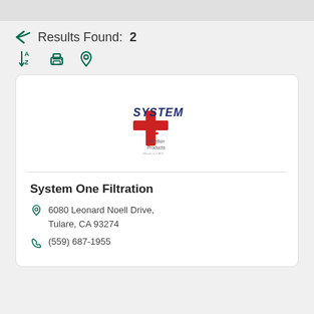Results Found: 2
[Figure (logo): System One Filtration logo with red and blue design]
System One Filtration
6080 Leonard Noell Drive, Tulare, CA 93274
(559) 687-1955